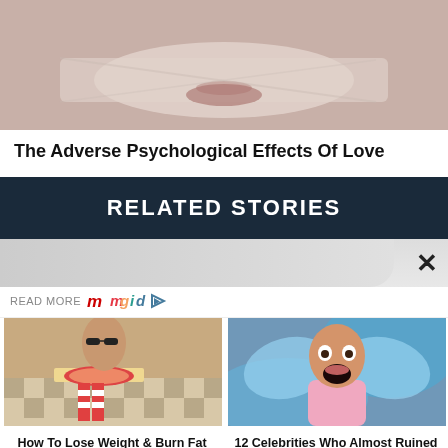[Figure (photo): Close-up of a person's lower face with tape or bandage over the mouth, muted pinkish-beige tones]
The Adverse Psychological Effects Of Love
RELATED STORIES
[Figure (photo): READ MORE mgid logo with play button icon, overlay bar with X close button]
[Figure (photo): Woman with sunglasses eating pizza while lounging]
How To Lose Weight & Burn Fat While You Sleep
[Figure (photo): Celebrity man with surprised expression wearing pink fairy/angel costume]
12 Celebrities Who Almost Ruined Their Careers With One Movie